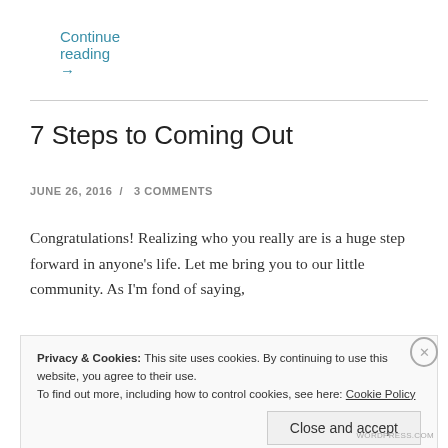Continue reading →
7 Steps to Coming Out
JUNE 26, 2016  /  3 COMMENTS
Congratulations! Realizing who you really are is a huge step forward in anyone's life. Let me bring you to our little community. As I'm fond of saying,
Privacy & Cookies: This site uses cookies. By continuing to use this website, you agree to their use. To find out more, including how to control cookies, see here: Cookie Policy
Close and accept